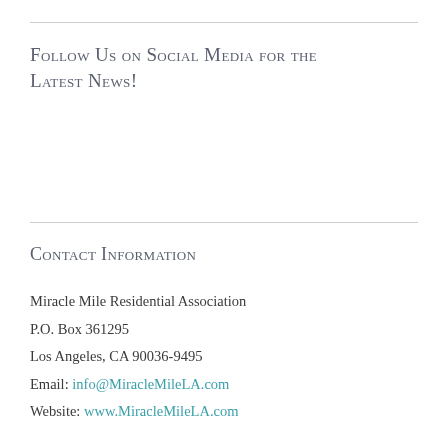Follow Us on Social Media for the Latest News!
Contact Information
Miracle Mile Residential Association
P.O. Box 361295
Los Angeles, CA 90036-9495
Email: info@MiracleMileLA.com
Website: www.MiracleMileLA.com